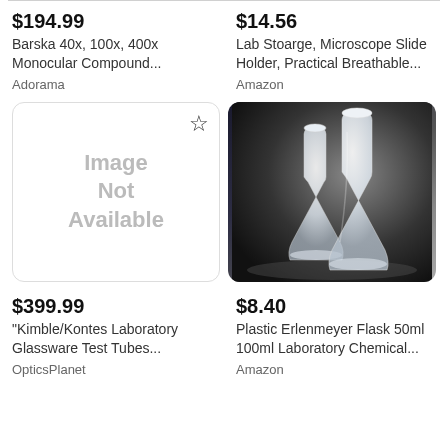$194.99
Barska 40x, 100x, 400x Monocular Compound...
Adorama
$14.56
Lab Stoarge, Microscope Slide Holder, Practical Breathable...
Amazon
[Figure (other): Image Not Available placeholder with star bookmark icon]
[Figure (photo): Two white/translucent plastic Erlenmeyer flasks on dark background]
$399.99
"Kimble/Kontes Laboratory Glassware Test Tubes...
OpticsPlanet
$8.40
Plastic Erlenmeyer Flask 50ml 100ml Laboratory Chemical...
Amazon